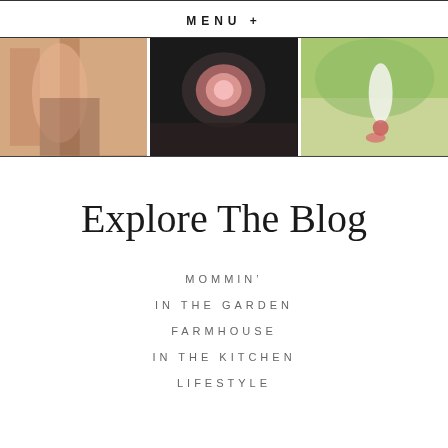MENU +
[Figure (photo): Three side-by-side lifestyle photos: left shows a woman in a floral blazer, center shows hands holding a pink peony flower, right shows a child in a white dress outdoors]
Explore The Blog
MOMMIN'
IN THE GARDEN
FARMHOUSE
IN THE KITCHEN
LIFESTYLE